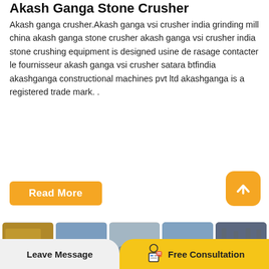Akash Ganga Stone Crusher
Akash ganga crusher.Akash ganga vsi crusher india grinding mill china akash ganga stone crusher akash ganga vsi crusher india stone crushing equipment is designed usine de rasage contacter le fournisseur akash ganga vsi crusher satara btfindia akashganga constructional machines pvt ltd akashganga is a registered trade mark. .
Read More
[Figure (photo): Five photos of stone crushing machinery and equipment on construction/mining sites arranged in a horizontal strip]
Leave Message
Free Consultation